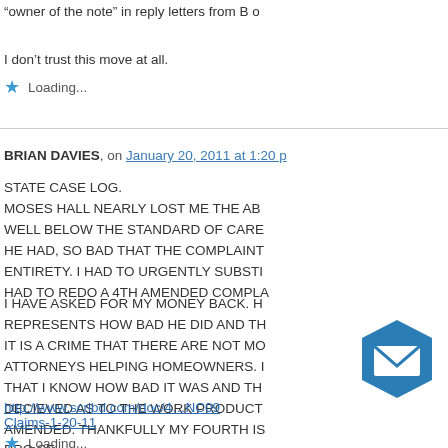“owner of the note” in reply letters from B o
I don’t trust this move at all.
Loading...
BRIAN DAVIES, on January 20, 2011 at 1:20 p
STATE CASE LOG.
MOSES HALL NEARLY LOST ME THE AB
WELL BELOW THE STANDARD OF CARE
HE HAD, SO BAD THAT THE COMPLAINT
ENTIRETY. I HAD TO URGENTLY SUBSTI
HAD TO REDO A 4TH AMENDED COMPLA
I HAVE ASKED FOR MY MONEY BACK. H
REPRESENTS HOW BAD HE DID AND TH
IT IS A CRIME THAT THERE ARE NOT MO
ATTORNEYS HELPING HOMEOWNERS. I
THAT I KNOW HOW BAD IT WAS AND TH
DECIEVED AS TO THE WORK PRODUCT
AMENDED. THANKFULLY MY FOURTH IS
PRO SE
http://www.scribd.com/doc/4 NC09
Claims-1-20-11
Loading...